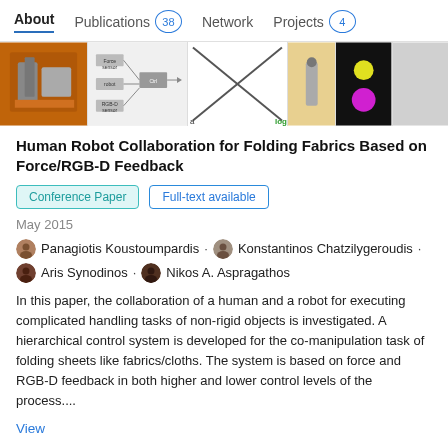About   Publications 38   Network   Projects 4
[Figure (photo): Strip of images related to the paper: robot working with fabric, system block diagram, X-pattern diagram, a fabric being handled, colored dots on black background, and a grey panel.]
Human Robot Collaboration for Folding Fabrics Based on Force/RGB-D Feedback
Conference Paper · Full-text available
May 2015
Panagiotis Koustoumpardis · Konstantinos Chatzilygeroudis · Aris Synodinos · Nikos A. Aspragathos
In this paper, the collaboration of a human and a robot for executing complicated handling tasks of non-rigid objects is investigated. A hierarchical control system is developed for the co-manipulation task of folding sheets like fabrics/cloths. The system is based on force and RGB-D feedback in both higher and lower control levels of the process....
View